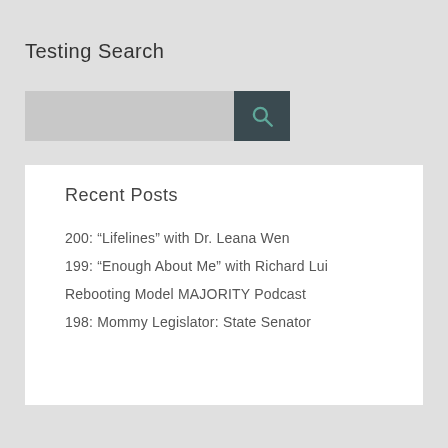Testing Search
[Figure (other): Search input box with a dark teal search button containing a magnifying glass icon]
Recent Posts
200: “Lifelines” with Dr. Leana Wen
199: “Enough About Me” with Richard Lui
Rebooting Model MAJORITY Podcast
198: Mommy Legislator: State Senator